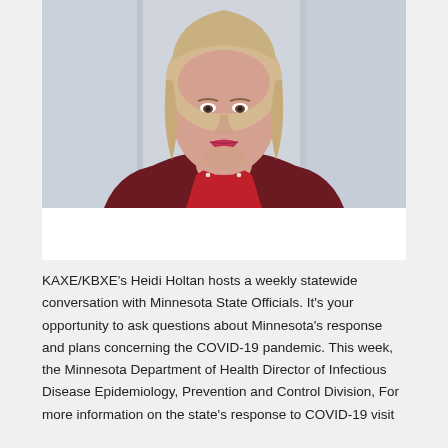[Figure (photo): Professional headshot of a woman with short blonde hair, wearing a dark red/maroon cardigan over a red top, with a pearl necklace, set against a light blurred background.]
KAXE/KBXE's Heidi Holtan hosts a weekly statewide conversation with Minnesota State Officials. It's your opportunity to ask questions about Minnesota's response and plans concerning the COVID-19 pandemic. This week, the Minnesota Department of Health Director of Infectious Disease Epidemiology, Prevention and Control Division, For more information on the state's response to COVID-19 visit